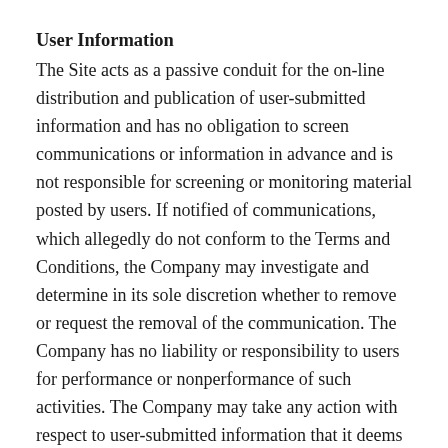User Information
The Site acts as a passive conduit for the on-line distribution and publication of user-submitted information and has no obligation to screen communications or information in advance and is not responsible for screening or monitoring material posted by users. If notified of communications, which allegedly do not conform to the Terms and Conditions, the Company may investigate and determine in its sole discretion whether to remove or request the removal of the communication. The Company has no liability or responsibility to users for performance or nonperformance of such activities. The Company may take any action with respect to user-submitted information that it deems necessary or appropriate if it believes it may create liability for the Company or may cause the Company to lose (in whole or in part) the services of its ISPs or other suppliers.
To use certain features of the Site, you must register with